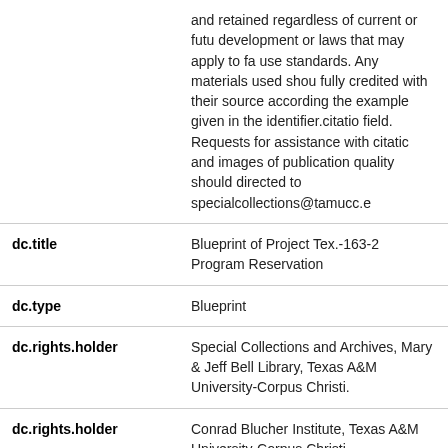| Field | Value |
| --- | --- |
|  | and retained regardless of current or future development or laws that may apply to fair use standards. Any materials used should be fully credited with their source according to the example given in the identifier.citation field. Requests for assistance with citations and images of publication quality should be directed to specialcollections@tamucc.e… |
| dc.title | Blueprint of Project Tex.-163-2 Program Reservation |
| dc.type | Blueprint |
| dc.rights.holder | Special Collections and Archives, Mary and Jeff Bell Library, Texas A&M University-Corpus Christi. |
| dc.rights.holder | Conrad Blucher Institute, Texas A&M University-Corpus Christi. |
| mc.collection.sub | William W. (Bill) and Patricia Green Survey Collection |